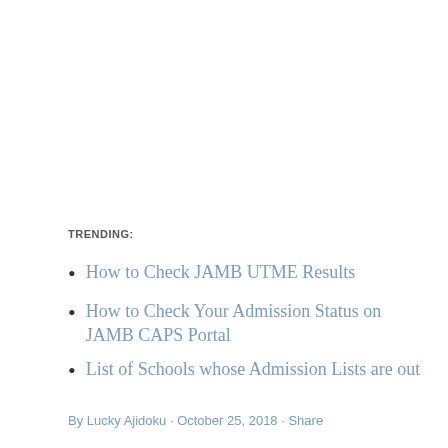TRENDING:
How to Check JAMB UTME Results
How to Check Your Admission Status on JAMB CAPS Portal
List of Schools whose Admission Lists are out
By Lucky Ajidoku · October 25, 2018 · Share